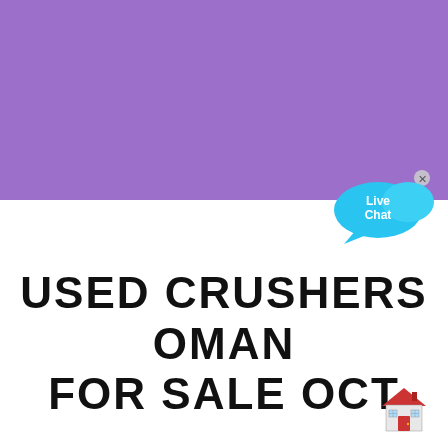[Figure (illustration): Purple banner background filling top portion of the image]
[Figure (illustration): Live Chat bubble widget in cyan/blue with 'Live Chat' text and a small X close button, positioned top right]
USED CRUSHERS OMAN FOR SALE OCT
[Figure (illustration): Small red house/store emoji icon in bottom right corner]